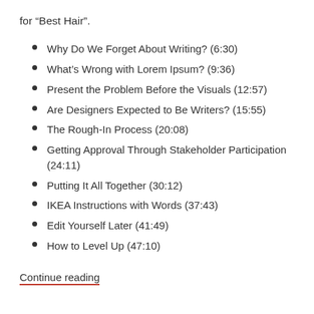for “Best Hair”.
Why Do We Forget About Writing? (6:30)
What’s Wrong with Lorem Ipsum? (9:36)
Present the Problem Before the Visuals (12:57)
Are Designers Expected to Be Writers? (15:55)
The Rough-In Process (20:08)
Getting Approval Through Stakeholder Participation (24:11)
Putting It All Together (30:12)
IKEA Instructions with Words (37:43)
Edit Yourself Later (41:49)
How to Level Up (47:10)
Continue reading